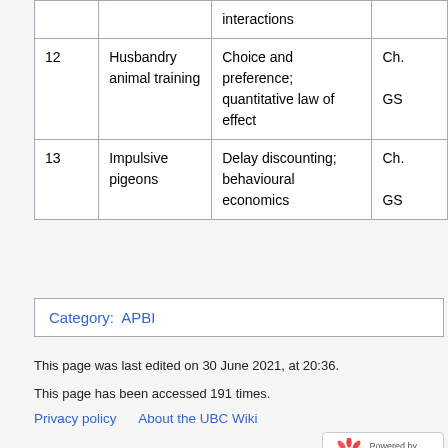|  |  | interactions |  |
| --- | --- | --- | --- |
| 12 | Husbandry animal training | Choice and preference; quantitative law of effect | Ch. GS |
| 13 | Impulsive pigeons | Delay discounting; behavioural economics | Ch. GS |
Category: APBI
This page was last edited on 30 June 2021, at 20:36.
This page has been accessed 191 times.
Privacy policy   About the UBC Wiki   Disclaimers